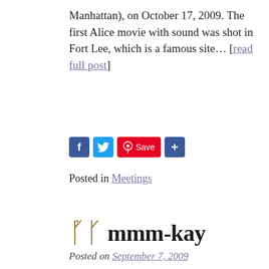Manhattan), on October 17, 2009. The first Alice movie with sound was shot in Fort Lee, which is a famous site… [read full post]
[Figure (other): Social sharing buttons: Facebook, Twitter, Pinterest Save, and a share/add button]
Posted in Meetings
mmm-kay
Posted on September 7, 2009
“Made in Bombay, born and raised in the UK, and currently based in San Francisco. Micropixie is a self- proclaimed Alien with extraORDINARY Abilities. She is also the